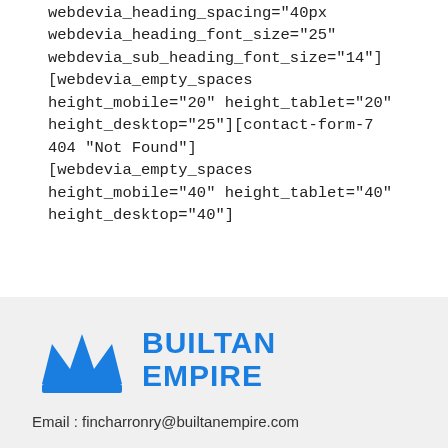webdevia_heading_spacing="40px webdevia_heading_font_size="25" webdevia_sub_heading_font_size="14"][webdevia_empty_spaces height_mobile="20" height_tablet="20" height_desktop="25"][contact-form-7 404 "Not Found"][webdevia_empty_spaces height_mobile="40" height_tablet="40" height_desktop="40"]
[Figure (logo): Builtan Empire logo with blue crown icon and blue bold text BUILTAN EMPIRE]
Email : fincharronry@builtanempire.com